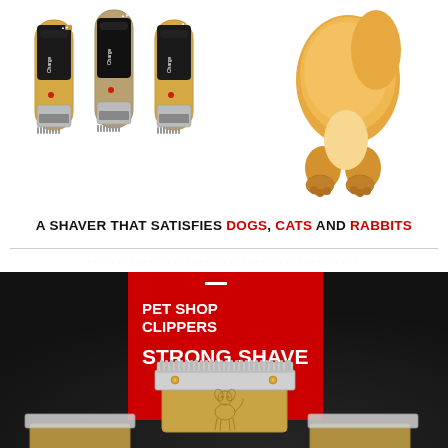[Figure (photo): Three gold/champagne pet hair clippers arranged side by side on white background, showing Charge label and buttons]
[Figure (photo): Fluffy orange/golden cat or dog standing, showing fur and paws on white background]
A SHAVER THAT SATISFIES DOGS, CATS AND RABBITS
[Figure (photo): Dark background product image showing pet clipper blades up close with red banner reading PET SHOP CLIPPERS STRONG SHAVE and small dog illustration engraved on gold blade body]